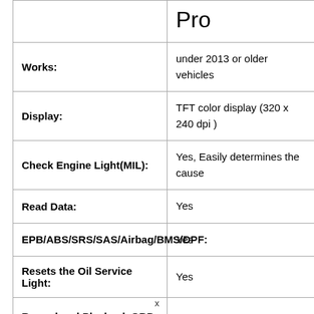|  | Pro |
| --- | --- |
| Works: | under 2013 or older vehicles |
| Display: | TFT color display (320 x 240 dpi ) |
| Check Engine Light(MIL): | Yes, Easily determines the cause |
| Read Data: | Yes |
| EPB/ABS/SRS/SAS/Airbag/BMS/DPF: | Yes |
| Resets the Oil Service Light: | Yes |
| Record and Playback OBD-II live data: | Yes |
x